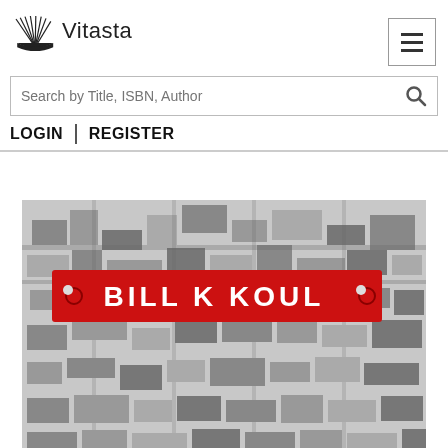[Figure (logo): Vitasta publisher logo with open book icon and text 'Vitasta']
[Figure (screenshot): Hamburger menu button (three horizontal lines in a bordered square)]
Search by Title, ISBN, Author
LOGIN | REGISTER
[Figure (photo): Book cover showing a black and white aerial city photograph with a red banner label reading 'BILL K KOUL' in white bold text]